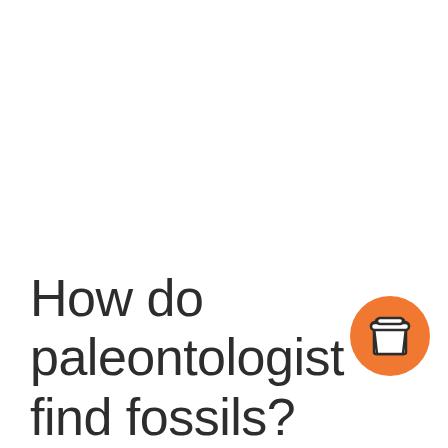How do paleontologist find fossils?
[Figure (logo): Orange circular icon with a white coffee/takeaway cup illustration]